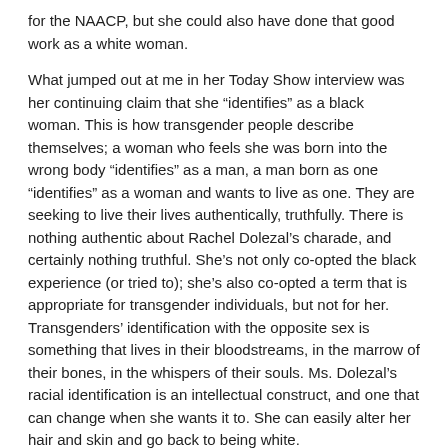for the NAACP, but she could also have done that good work as a white woman.
What jumped out at me in her Today Show interview was her continuing claim that she “identifies” as a black woman. This is how transgender people describe themselves; a woman who feels she was born into the wrong body “identifies” as a man, a man born as one “identifies” as a woman and wants to live as one. They are seeking to live their lives authentically, truthfully. There is nothing authentic about Rachel Dolezal’s charade, and certainly nothing truthful. She’s not only co-opted the black experience (or tried to); she’s also co-opted a term that is appropriate for transgender individuals, but not for her. Transgenders’ identification with the opposite sex is something that lives in their bloodstreams, in the marrow of their bones, in the whispers of their souls. Ms. Dolezal’s racial identification is an intellectual construct, and one that can change when she wants it to. She can easily alter her hair and skin and go back to being white.
Her fantasy may have started out in her younger years, but once she brought it into adulthood and carved it into a deceptive and inauthentic persona, it was no longer innocuous. Adults do adult damage. The “strange and bitter fruit” of being black in America is not Ms. Dolezal’s